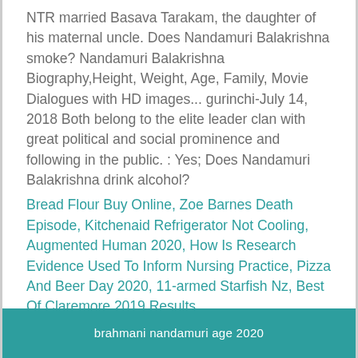NTR married Basava Tarakam, the daughter of his maternal uncle. Does Nandamuri Balakrishna smoke? Nandamuri Balakrishna Biography,Height, Weight, Age, Family, Movie Dialogues with HD images... gurinchi-July 14, 2018 Both belong to the elite leader clan with great political and social prominence and following in the public. : Yes; Does Nandamuri Balakrishna drink alcohol?
Bread Flour Buy Online, Zoe Barnes Death Episode, Kitchenaid Refrigerator Not Cooling, Augmented Human 2020, How Is Research Evidence Used To Inform Nursing Practice, Pizza And Beer Day 2020, 11-armed Starfish Nz, Best Of Claremore 2019 Results,
brahmani nandamuri age 2020